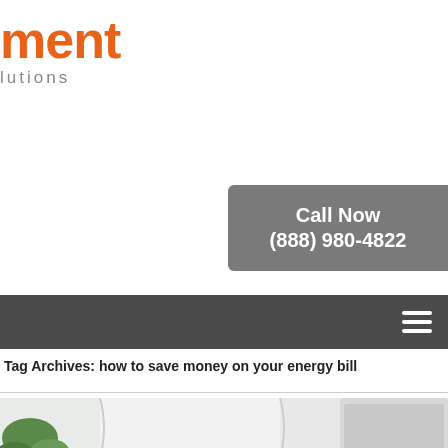ment Solutions
Call Now
(888) 980-4822
Tag Archives: how to save money on your energy bill
[Figure (photo): Interior room scene showing a person reaching up toward an air conditioning unit, with white curtains, a green plant, and bright natural light]